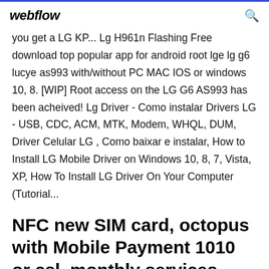webflow
you get a LG KP... Lg H961n Flashing Free download top popular app for android root lge lg g6 lucye as993 with/without PC MAC IOS or windows 10, 8. [WIP] Root access on the LG G6 AS993 has been acheived! Lg Driver - Como instalar Drivers LG - USB, CDC, ACM, MTK, Modem, WHQL, DUM, Driver Celular LG , Como baixar e instalar, How to Install LG Mobile Driver on Windows 10, 8, 7, Vista, XP, How To Install LG Driver On Your Computer (Tutorial...
NFC new SIM card, octopus with Mobile Payment 1010 or csl. monthly services plan can get a